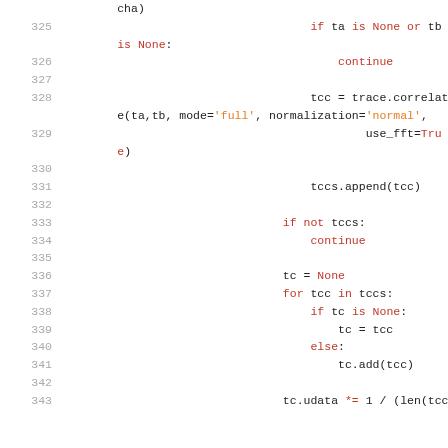Code snippet lines 325-342, Python source code showing cross-correlation logic using trace.correlate with mode='full', normalization='normal', use_fft=True, and aggregation loop over tccs.